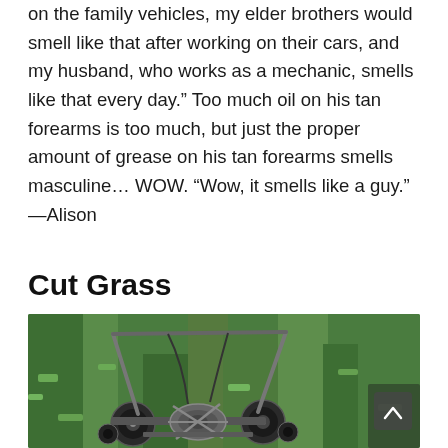on the family vehicles, my elder brothers would smell like that after working on their cars, and my husband, who works as a mechanic, smells like that every day." Too much oil on his tan forearms is too much, but just the proper amount of grease on his tan forearms smells masculine... WOW. "Wow, it smells like a guy." —Alison
Cut Grass
[Figure (photo): A vintage reel push lawn mower sitting on freshly cut green grass, viewed from the side/front angle showing the metal reel blades, wheels, and handle frame.]